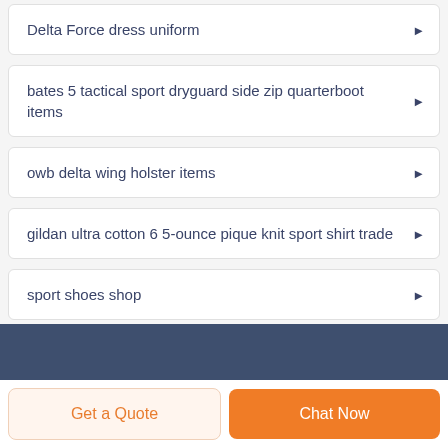Delta Force dress uniform
bates 5 tactical sport dryguard side zip quarterboot items
owb delta wing holster items
gildan ultra cotton 6 5-ounce pique knit sport shirt trade
sport shoes shop
Get a Quote
Chat Now